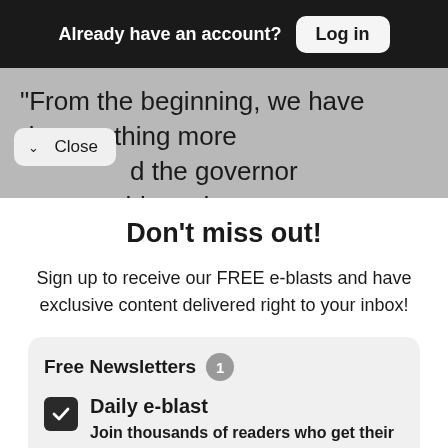Already have an account? Log in
“From the beginning, we have done nothing more d the governor accountable to the
∨ Close
Don’t miss out!
Sign up to receive our FREE e-blasts and have exclusive content delivered right to your inbox!
Free Newsletters 1
Daily e-blast
Join thousands of readers who get their coverage on Black communities from the media company who has been doing it